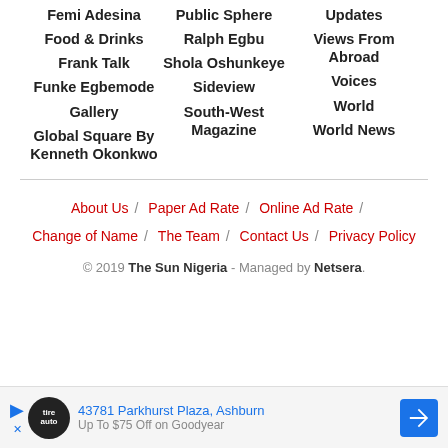Femi Adesina
Food & Drinks
Frank Talk
Funke Egbemode
Gallery
Global Square By Kenneth Okonkwo
Public Sphere
Ralph Egbu
Shola Oshunkeye
Sideview
South-West Magazine
Updates
Views From Abroad
Voices
World
World News
About Us / Paper Ad Rate / Online Ad Rate / Change of Name / The Team / Contact Us / Privacy Policy
© 2019 The Sun Nigeria - Managed by Netsera.
43781 Parkhurst Plaza, Ashburn  Up To $75 Off on Goodyear